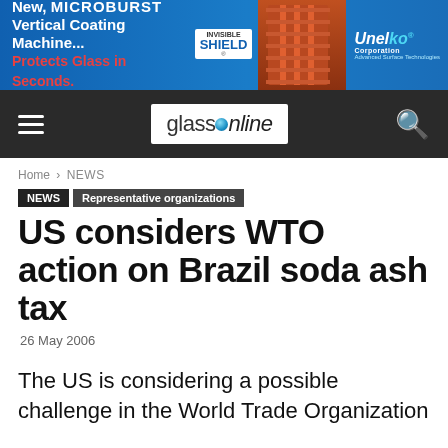[Figure (other): Advertisement banner for Unelko Corporation MICROBURST Vertical Coating Machine with Invisible Shield branding. Blue background with machine image on right.]
glassOnline
Home › NEWS
NEWS
Representative organizations
US considers WTO action on Brazil soda ash tax
26 May 2006
The US is considering a possible challenge in the World Trade Organization against Brazil's carbon tax. Fur...